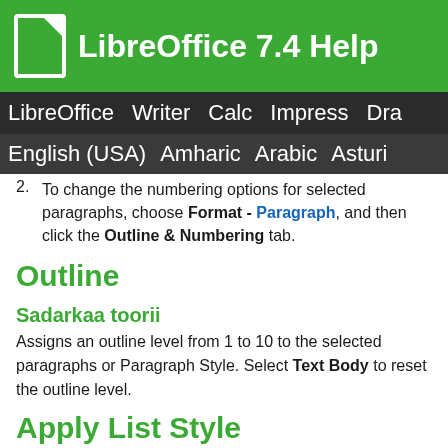LibreOffice 7.4 Help
LibreOffice Writer Calc Impress Dra
English (USA) Amharic Arabic Asturi
2. To change the numbering options for selected paragraphs, choose Format - Paragraph, and then click the Outline & Numbering tab.
Outline
Sadarkaa toorii
Assigns an outline level from 1 to 10 to the selected paragraphs or Paragraph Style. Select Text Body to reset the outline level.
Apply List Style